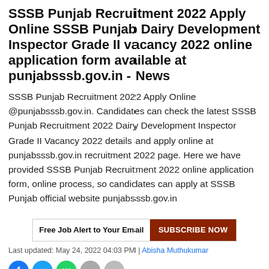SSSB Punjab Recruitment 2022 Apply Online SSSB Punjab Dairy Development Inspector Grade II vacancy 2022 online application form available at punjabsssb.gov.in - News
SSSB Punjab Recruitment 2022 Apply Online @punjabsssb.gov.in. Candidates can check the latest SSSB Punjab Recruitment 2022 Dairy Development Inspector Grade II Vacancy 2022 details and apply online at punjabsssb.gov.in recruitment 2022 page. Here we have provided SSSB Punjab Recruitment 2022 online application form, online process, so candidates can apply at SSSB Punjab official website punjabsssb.gov.in
[Figure (infographic): Subscribe bar with text 'Free Job Alert to Your Email' and a brown button labeled 'SUBSCRIBE NOW']
Last updated: May 24, 2022 04:03 PM | Abisha Muthukumar